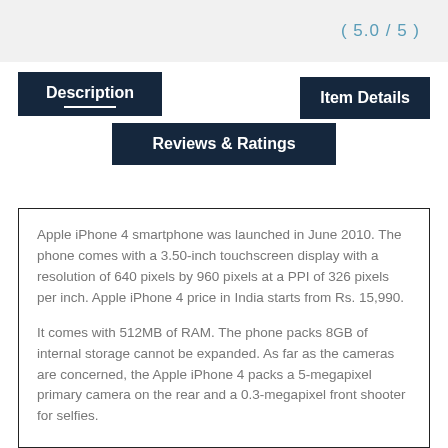( 5.0 / 5 )
Description
Item Details
Reviews & Ratings
Apple iPhone 4 smartphone was launched in June 2010. The phone comes with a 3.50-inch touchscreen display with a resolution of 640 pixels by 960 pixels at a PPI of 326 pixels per inch. Apple iPhone 4 price in India starts from Rs. 15,990.
It comes with 512MB of RAM. The phone packs 8GB of internal storage cannot be expanded. As far as the cameras are concerned, the Apple iPhone 4 packs a 5-megapixel primary camera on the rear and a 0.3-megapixel front shooter for selfies.